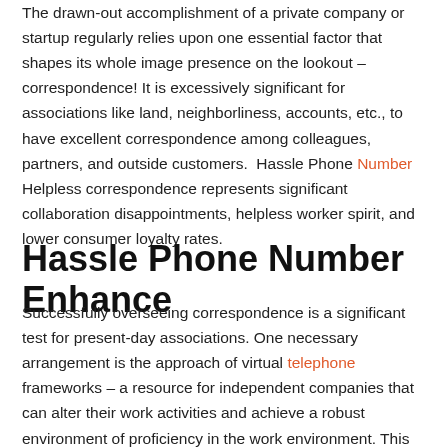The drawn-out accomplishment of a private company or startup regularly relies upon one essential factor that shapes its whole image presence on the lookout – correspondence! It is excessively significant for associations like land, neighborliness, accounts, etc., to have excellent correspondence among colleagues, partners, and outside customers. Hassle Phone Number Helpless correspondence represents significant collaboration disappointments, helpless worker spirit, and lower consumer loyalty rates.
Hassle Phone Number Enhance
Successfully overseeing correspondence is a significant test for present-day associations. One necessary arrangement is the approach of virtual telephone frameworks – a resource for independent companies that can alter their work activities and achieve a robust environment of proficiency in the work environment. This excellent measurement shows the acknowledgment.